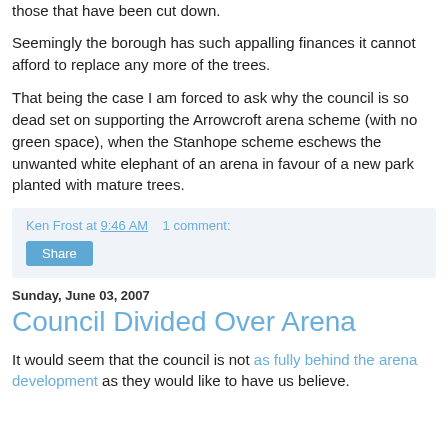those that have been cut down.
Seemingly the borough has such appalling finances it cannot afford to replace any more of the trees.
That being the case I am forced to ask why the council is so dead set on supporting the Arrowcroft arena scheme (with no green space), when the Stanhope scheme eschews the unwanted white elephant of an arena in favour of a new park planted with mature trees.
Ken Frost at 9:46 AM    1 comment:
Share
Sunday, June 03, 2007
Council Divided Over Arena
It would seem that the council is not as fully behind the arena development as they would like to have us believe.